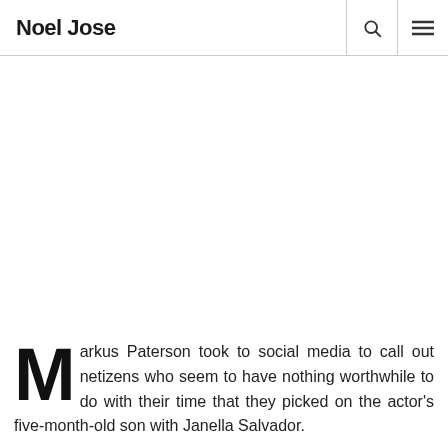Noel Jose
Markus Paterson took to social media to call out netizens who seem to have nothing worthwhile to do with their time that they picked on the actor's five-month-old son with Janella Salvador.